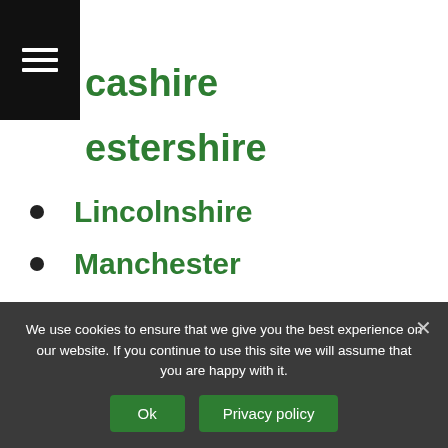…cashire
…estershire
Lincolnshire
Manchester
Merseyside
Saving Energy
Green Deal
Green Homes Grant
Business Grants
We use cookies to ensure that we give you the best experience on our website. If you continue to use this site we will assume that you are happy with it.
Ok
Privacy policy